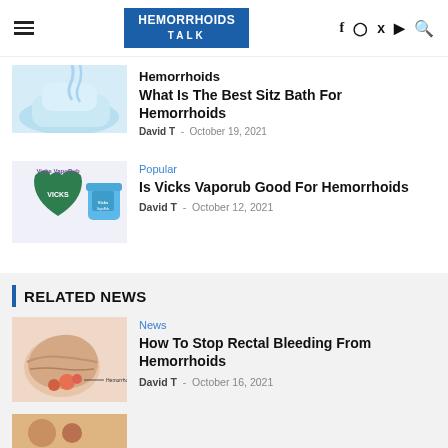HEMORRHOIDS TALK — navigation header with hamburger menu, logo, social icons (f, instagram, twitter, youtube, search)
[Figure (photo): Partial image of water being poured into a white bowl/bidet (cut off at top), article about best sitz bath for hemorrhoids]
What Is The Best Sitz Bath For Hemorrhoids
David T  -  October 19, 2021
Popular
[Figure (photo): Vicks VapoRub product image showing green shield logo and blue jar, labeled 'Vicks VapoRub']
Is Vicks Vaporub Good For Hemorrhoids
David T  -  October 12, 2021
RELATED NEWS
News
How To Stop Rectal Bleeding From Hemorrhoids
David T  -  October 16, 2021
[Figure (illustration): Medical illustration of rectal/hemorrhoid anatomy with label 'Hemorrhoids']